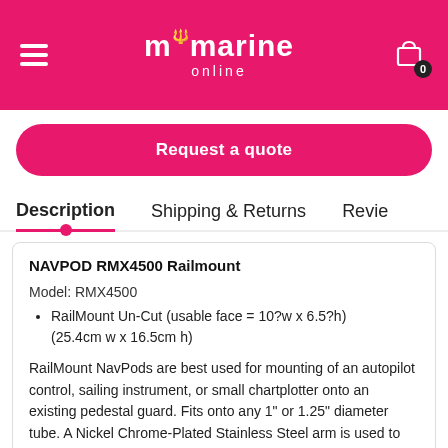mmarine online
Request a quote
Description   Shipping & Returns   Revie
NAVPOD RMX4500 Railmount
Model: RMX4500
RailMount Un-Cut (usable face = 10?w x 6.5?h) (25.4cm w x 16.5cm h)
RailMount NavPods are best used for mounting of an autopilot control, sailing instrument, or small chartplotter onto an existing pedestal guard. Fits onto any 1" or 1.25" diameter tube. A Nickel Chrome-Plated Stainless Steel arm is used to mount a NavPod. The